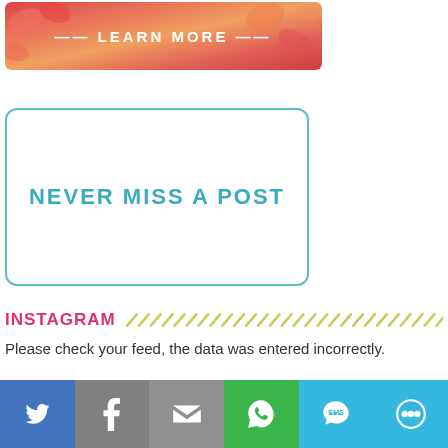[Figure (photo): Floral banner with 'LEARN MORE' text in white on autumn flower background]
NEVER MISS A POST
INSTAGRAM
Please check your feed, the data was entered incorrectly.
FACEBOOK
TWITTER
[Figure (infographic): Social share bar with Twitter, Facebook, Email, WhatsApp, SMS, and More icons]